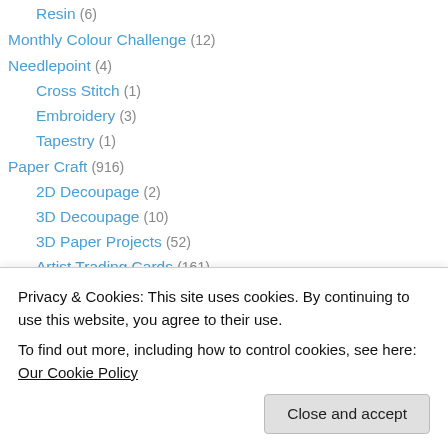Resin (6)
Monthly Colour Challenge (12)
Needlepoint (4)
Cross Stitch (1)
Embroidery (3)
Tapestry (1)
Paper Craft (916)
2D Decoupage (2)
3D Decoupage (10)
3D Paper Projects (52)
Artist Trading Cards (161)
Artist Trading Coins (8)
Book Binding (2)
Privacy & Cookies: This site uses cookies. By continuing to use this website, you agree to their use.
To find out more, including how to control cookies, see here: Our Cookie Policy
Close and accept